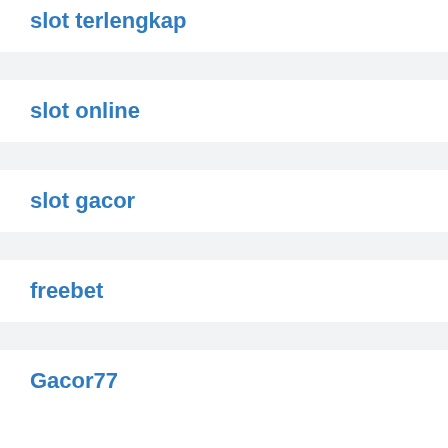slot terlengkap
slot online
slot gacor
freebet
Gacor77